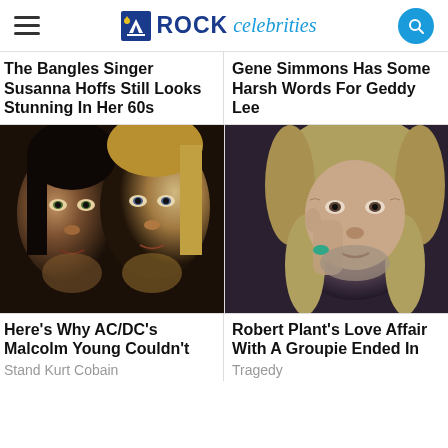ROCK celebrities
The Bangles Singer Susanna Hoffs Still Looks Stunning In Her 60s
Gene Simmons Has Some Harsh Words For Geddy Lee
[Figure (photo): Two male rock musicians close-up portrait: one with dark long hair on left, one with blonde hair on right]
[Figure (photo): Older man with long curly gray-white hair resting hand on cheek, wearing a ring]
Here's Why AC/DC's Malcolm Young Couldn't
Stand Kurt Cobain
Robert Plant's Love Affair With A Groupie Ended In
Tragedy